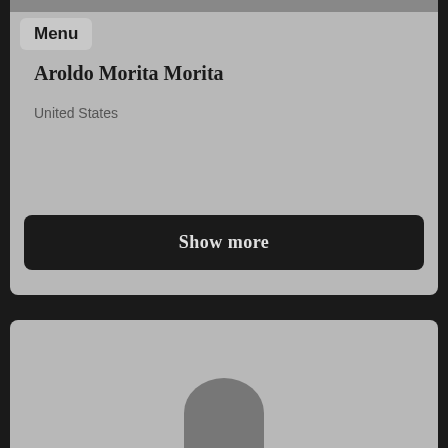[Figure (screenshot): Top profile card with grey background showing user profile for Aroldo Morita Morita, United States, with a Show more button]
Menu
Aroldo Morita Morita
United States
Show more
[Figure (photo): Bottom card with grey background showing partial profile image silhouette]